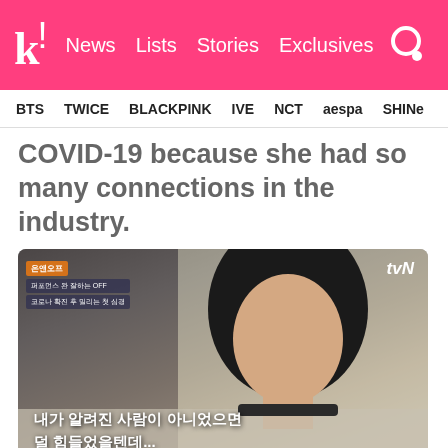k! News Lists Stories Exclusives
BTS TWICE BLACKPINK IVE NCT aespa SHINee
COVID-19 because she had so many connections in the industry.
[Figure (photo): Screenshot from tvN show featuring a woman with long dark hair, Korean subtitles reading: 내가 알려진 사람이 아니었으면 덜 힘들었을텐데...]
Regarding the counseling, Chunha confessed